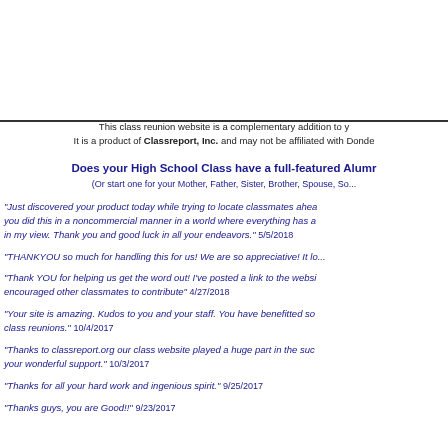This class reunion website is a complementary addition to y... It is a product of Classreport, Inc. and may not be affiliated with Donde...
Does your High School Class have a full-featured Alumn... (Or start one for your Mother, Father, Sister, Brother, Spouse, So...
"Just discovered your product today while trying to locate classmates ahea... you did this in a noncommercial manner in a world where everything has a... in my view. Thank you and good luck in all your endeavors." 5/5/2018
"THANKYOU so much for handling this for us! We are so appreciative! It lo...
"Thank YOU for helping us get the word out! I've posted a link to the websi... encouraged other classmates to contribute" 4/27/2018
"Your site is amazing. Kudos to you and your staff. You have benefitted so... class reunions." 10/4/2017
"Thanks to classreport.org our class website played a huge part in the suc... your wonderful support." 10/3/2017
"Thanks for all your hard work and ingenious spirit." 9/25/2017
"Thanks guys, you are Good!!" 9/23/2017